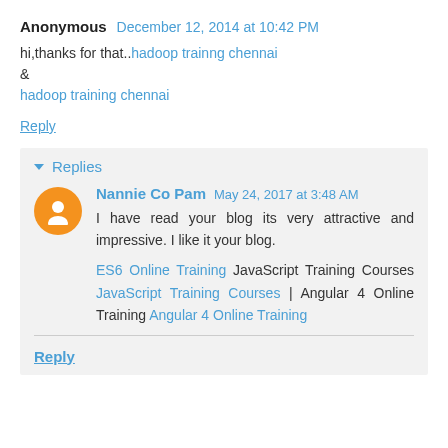Anonymous December 12, 2014 at 10:42 PM
hi,thanks for that..hadoop trainng chennai & hadoop training chennai
Reply
Replies
Nannie Co Pam May 24, 2017 at 3:48 AM
I have read your blog its very attractive and impressive. I like it your blog.
ES6 Online Training JavaScript Training Courses JavaScript Training Courses | Angular 4 Online Training Angular 4 Online Training
Reply